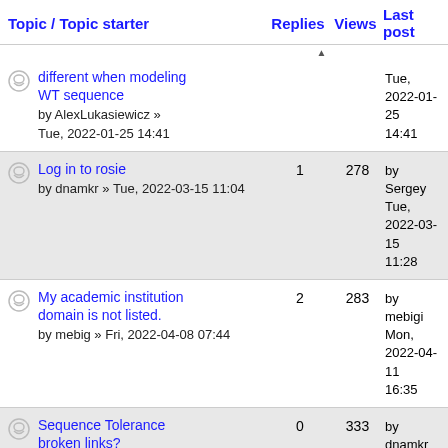Topic / Topic starter   Replies   Views   Last post
different when modeling WT sequence by AlexLukasiewicz » Tue, 2022-01-25 14:41 | Replies: (truncated) | Views: (truncated) | Last post: by (truncated) Tue, 2022-01-25 14:41
Log in to rosie by dnamkr » Tue, 2022-03-15 11:04 | Replies: 1 | Views: 278 | Last post: by Sergey Tue, 2022-03-15 11:28
My academic institution domain is not listed. by mebig » Fri, 2022-04-08 07:44 | Replies: 2 | Views: 283 | Last post: by mebigi Mon, 2022-04-11 16:35
Sequence Tolerance broken links? by dnamkr » Fri, 2021-10-22 11:34 | Replies: 0 | Views: 333 | Last post: by dnamkr Fri, 2021-10-22 11:34
Academic domain not (truncated) | Replies: 4 | Views: 362 | Last post: by SKlab